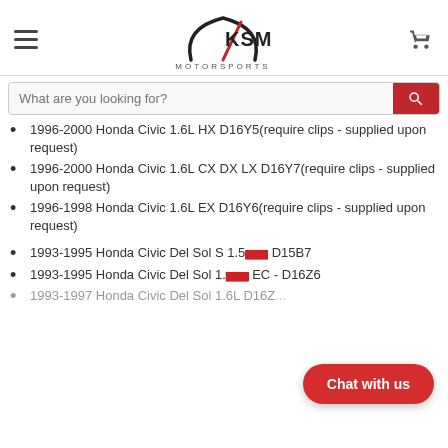[Figure (logo): KSM Motorsports logo with speedometer needle graphic and text]
What are you looking for?
1996-2000 Honda Civic 1.6L HX D16Y5(require clips - supplied upon request)
1996-2000 Honda Civic 1.6L CX DX LX D16Y7(require clips - supplied upon request)
1996-1998 Honda Civic 1.6L EX D16Y6(require clips - supplied upon request)
1993-1995 Honda Civic Del Sol S 1.5L [obscured] D15B7
1993-1995 Honda Civic Del Sol 1.[obscured] EC - D16Z6